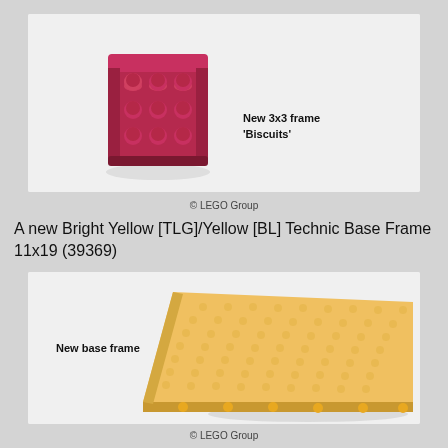[Figure (photo): A dark pink/magenta LEGO Technic 3x3 frame piece ('Biscuits') with studs, photographed on a light grey background. Label reads 'New 3x3 frame Biscuits'.]
© LEGO Group
A new Bright Yellow [TLG]/Yellow [BL] Technic Base Frame 11x19 (39369)
[Figure (photo): A bright yellow LEGO Technic Base Frame 11x19 (part 39369) photographed at an angle showing its studded top surface and technic holes along the edge. Label reads 'New base frame'.]
© LEGO Group